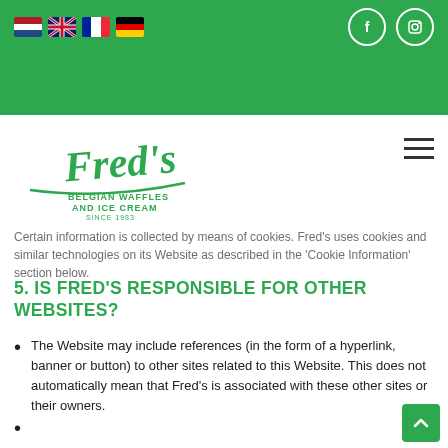information to get a better idea of how our users interact with our Website and thereafter further improve our Website accordingly. Such information cannot be linked to you individually, but if we can link it to you, we treat it in accordance with this Privacy Policy.
[Figure (logo): Fred's Belgian Waffles and Ice Cream Since 1983 logo in green script]
Certain information is collected by means of cookies. Fred's uses cookies and similar technologies on its Website as described in the 'Cookie Information' section below.
5. IS FRED'S RESPONSIBLE FOR OTHER WEBSITES?
The Website may include references (in the form of a hyperlink, banner or button) to other sites related to this Website. This does not automatically mean that Fred's is associated with these other sites or their owners.
The website may also be Fred linked at We...